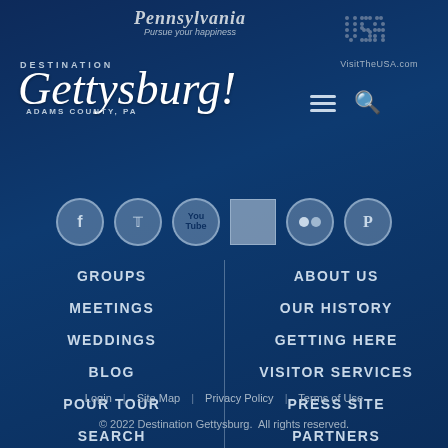[Figure (logo): Pennsylvania 'Pursue your happiness' logo at top center]
[Figure (logo): VisitTheUSA.com dotted logo at top right]
[Figure (logo): Destination Gettysburg! ADAMS COUNTY, PA script logo at top left]
[Figure (infographic): Social media icons row: Facebook, Twitter, YouTube, (square/Vimeo), Flickr, Pinterest]
GROUPS
MEETINGS
WEDDINGS
BLOG
POUR TOUR
SEARCH
ABOUT US
OUR HISTORY
GETTING HERE
VISITOR SERVICES
PRESS SITE
PARTNERS
Login | Site Map | Privacy Policy | Terms of Use
© 2022 Destination Gettysburg. All rights reserved.